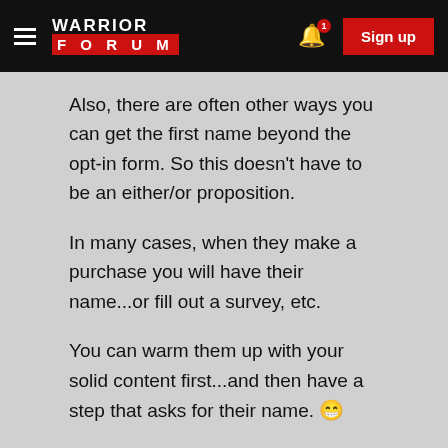Warrior Forum — Sign up
Also, there are often other ways you can get the first name beyond the opt-in form. So this doesn't have to be an either/or proposition.
In many cases, when they make a purchase you will have their name...or fill out a survey, etc.
You can warm them up with your solid content first...and then have a step that asks for their name. 😁
All the best,